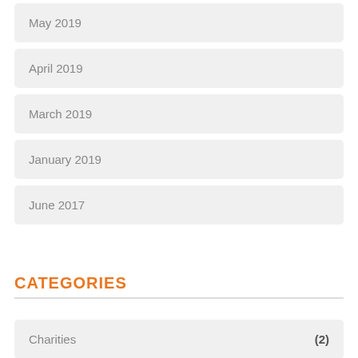May 2019
April 2019
March 2019
January 2019
June 2017
CATEGORIES
Charities (2)
Events (51)